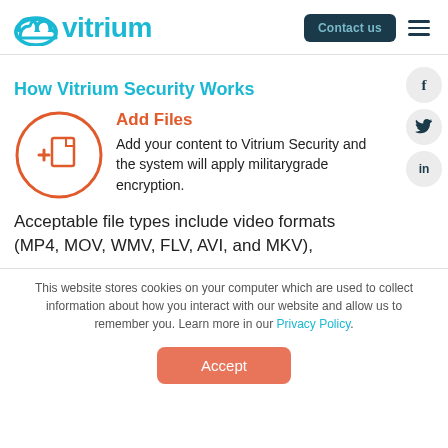Vitrium — Contact us
How Vitrium Security Works
[Figure (illustration): Orange circle icon with a plus sign and a document/file symbol inside]
Add Files
Add your content to Vitrium Security and the system will apply militarygrade encryption. Acceptable file types include video formats (MP4, MOV, WMV, FLV, AVI, and MKV),
This website stores cookies on your computer which are used to collect information about how you interact with our website and allow us to remember you. Learn more in our Privacy Policy.
Accept